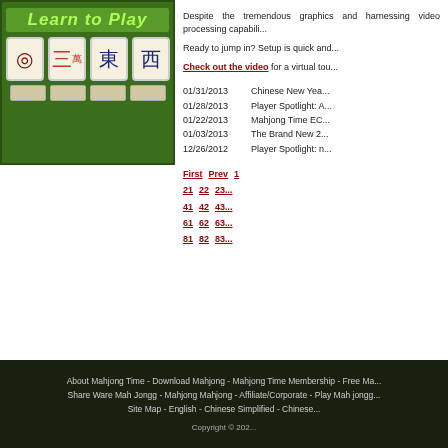[Figure (screenshot): Mahjong 'Learn to Play' banner with four mahjong tiles (circle, man character, East wind, West wind) on green background]
Despite the tremendous graphics and harnessing video processing capabilities...
Ready to jump in? Setup is quick and...
Check out the video for a virtual tour...
01/31/2013 - Chinese New Yea...
01/28/2013 - Player Spotlight: A...
01/22/2013 - Mahjong Time EC...
01/03/2013 - The Brand New 2...
12/26/2012 - Player Spotlight: n...
First Prev 1 ... 21 22 23 ... 41 42 43 ... 61 62 63 ... 81 82 83...
About Mahjong Time - Download Mahjong - Mahjong Time Membership - Free Ma... Share Ware Mah Jongg - Mahjong Mahjong - Affiliate/Corporate - Play Mah jongg... Site Map - English - Chinese Simplified - Chinese... Copyright © 202...